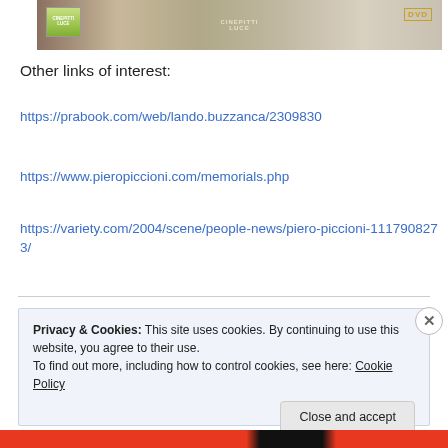[Figure (photo): Top banner image showing a DVD cover with logos including a stylized green logo on left, text overlay in center reading 'CINEPITTI LUCE', and DVD badge on right. Dark and light toned photographic imagery.]
Other links of interest:
https://prabook.com/web/lando.buzzanca/2309830
https://www.pieropiccioni.com/memorials.php
https://variety.com/2004/scene/people-news/piero-piccioni-1117908273/
Privacy & Cookies: This site uses cookies. By continuing to use this website, you agree to their use.
To find out more, including how to control cookies, see here: Cookie Policy